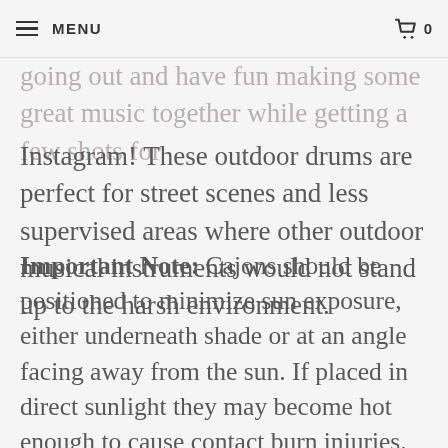MENU | 0
going out and have fun making some great music together while getting a few shots for Instagram! These outdoor drums are perfect for street scenes and less supervised areas where other outdoor musical instruments would not stand up to the harsh environment.
Important Note: Cajons should be positioned to minimize sun exposure, either underneath shade or at an angle facing away from the sun. If placed in direct sunlight they may become hot enough to cause contact burn injuries. Alternatively, you may consider the Cajon Deluxe Edition which includes a thick solid hardwood seat - ideal for sunny locations or for those who like to drum in a little more comfort.